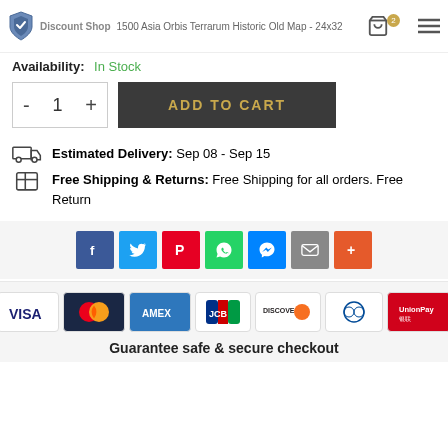1500 Asia Orbis Terrarum Historic Old Map - 24x32 | Discount Shop
Availability: In Stock
- 1 + ADD TO CART
Estimated Delivery: Sep 08 - Sep 15
Free Shipping & Returns: Free Shipping for all orders. Free Return
[Figure (infographic): Social share buttons: Facebook, Twitter, Pinterest, WhatsApp, Messenger, Email, More]
[Figure (infographic): Payment method logos: VISA, Mastercard, AMEX, JCB, DISCOVER, Diners Club, UnionPay]
Guarantee safe & secure checkout